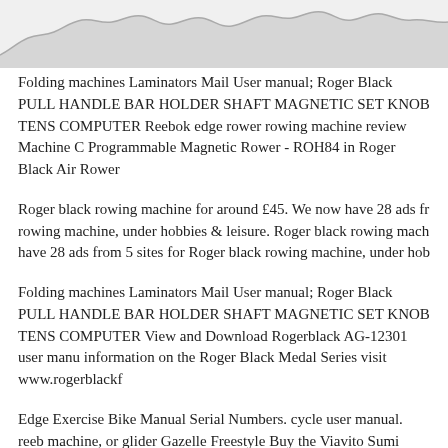[Figure (continuous-plot): Partial area/line chart visible at top of page, light grey filled area with irregular waveform silhouette against white background]
Folding machines Laminators Mail User manual; Roger Black PULL HANDLE BAR HOLDER SHAFT MAGNETIC SET KNOB TENS COMPUTER Reebok edge rower rowing machine review Machine C Programmable Magnetic Rower - ROH84 in Roger Black Air Rower
Roger black rowing machine for around £45. We now have 28 ads fr rowing machine, under hobbies & leisure. Roger black rowing mach have 28 ads from 5 sites for Roger black rowing machine, under hob
Folding machines Laminators Mail User manual; Roger Black PULL HANDLE BAR HOLDER SHAFT MAGNETIC SET KNOB TENS COMPUTER View and Download Rogerblack AG-12301 user manu information on the Roger Black Medal Series visit www.rogerblackf
Edge Exercise Bike Manual Serial Numbers. cycle user manual. reeb machine, or glider Gazelle Freestyle Buy the Viavito Sumi Folding R